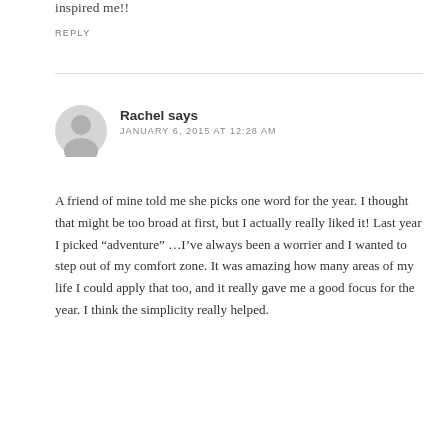inspired me!!
REPLY
[Figure (illustration): Generic user avatar icon, circular gray silhouette]
Rachel says
JANUARY 6, 2015 AT 12:28 AM
A friend of mine told me she picks one word for the year. I thought that might be too broad at first, but I actually really liked it! Last year I picked “adventure” …I’ve always been a worrier and I wanted to step out of my comfort zone. It was amazing how many areas of my life I could apply that too, and it really gave me a good focus for the year. I think the simplicity really helped.